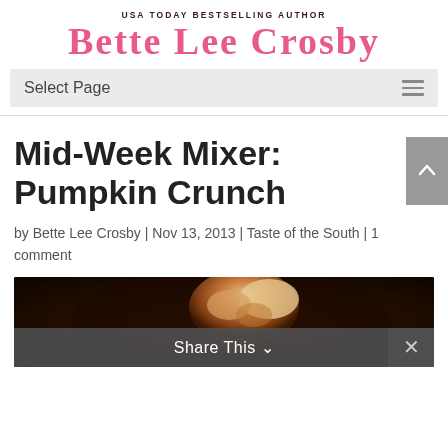USA TODAY BESTSELLING AUTHOR
BETTE LEE CROSBY
Select Page
Mid-Week Mixer: Pumpkin Crunch
by Bette Lee Crosby | Nov 13, 2013 | Taste of the South | 1 comment
[Figure (photo): Dark background photo of a pumpkin crunch dessert dish]
Share This